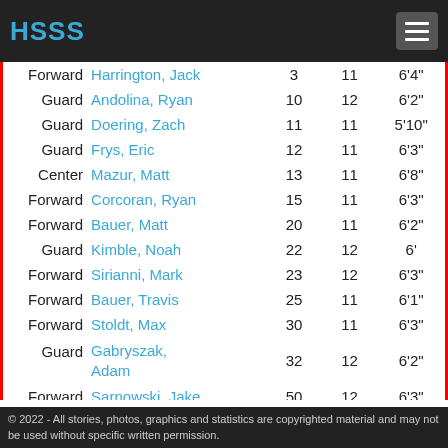HSSS
| Position | Name | # | Grade | Height |
| --- | --- | --- | --- | --- |
| Forward | Harrington, Jack | 3 | 11 | 6'4" |
| Guard | Andolina, Ryan | 10 | 12 | 6'2" |
| Guard | Doering, Zach | 11 | 11 | 5'10" |
| Guard | Frys, Eric | 12 | 11 | 6'3" |
| Center | Mazur, Matt | 13 | 11 | 6'8" |
| Forward | Corcoran, Ryan | 15 | 11 | 6'3" |
| Forward | Bauer, Matt | 20 | 11 | 6'2" |
| Guard | Kimble, Noah | 22 | 12 | 6' |
| Forward | Sirianni, Mark | 23 | 12 | 6'3" |
| Forward | Bauer, Travis | 25 | 11 | 6'1" |
| Forward | Stoldt, Max | 30 | 11 | 6'3" |
| Guard | Gabryszak, Adam | 32 | 12 | 6'2" |
| Forward | Sarnowski, Jake | 50 | 12 | 6'3" |
| Center | Harrington, Joe | 55 | 12 | 6'4" |
© 2022 - All stories, photos, graphics and statistics are copyrighted material and may not be used without specific written permission.